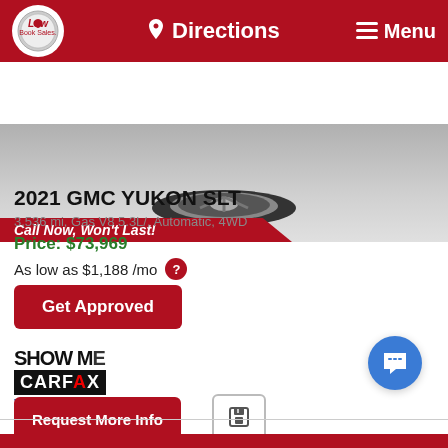Directions  Menu
[Figure (photo): Partial photo of a dark-colored SUV showing a wheel and lower body, with a red diagonal banner reading 'Call Now, Won't Last!']
2021 GMC YUKON SLT
3,536 mi, Gas V8 5.3L/, Automatic, 4WD
Price: $73,969
As low as $1,188 /mo
Get Approved
[Figure (screenshot): Chat popup overlay with close button. Shows a female avatar and text: 'Hi there, have a question? Text us here.']
SHOW ME
CARFAX
View the CARFAX
Request More Info
[Figure (other): Save icon button (floppy disk)]
[Figure (other): Blue circular chat button with message icon]